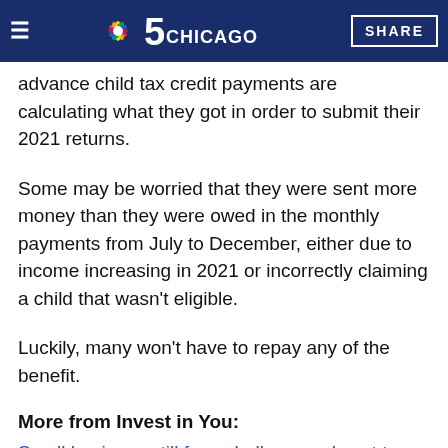NBC 5 Chicago | SHARE
Tax season … families who advance child tax credit payments are calculating what they got in order to submit their 2021 returns.
Some may be worried that they were sent more money than they were owed in the monthly payments from July to December, either due to income increasing in 2021 or incorrectly claiming a child that wasn't eligible.
Luckily, many won't have to repay any of the benefit.
More from Invest in You:
Small business still face challenges almost two years into the pandemic
Leaving a steady job to start a business requires proper planning